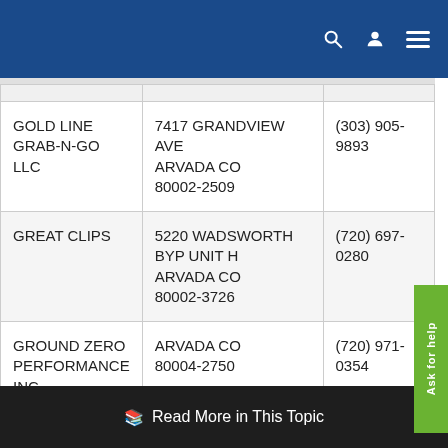Navigation bar with search, user, and menu icons
| Name | Address | Phone |
| --- | --- | --- |
| GOLD LINE GRAB-N-GO LLC | 7417 GRANDVIEW AVE ARVADA CO 80002-2509 | (303) 905-9893 |
| GREAT CLIPS | 5220 WADSWORTH BYP UNIT H ARVADA CO 80002-3726 | (720) 697-0280 |
| GROUND ZERO PERFORMANCE INC | ARVADA CO 80004-2750 | (720) 971-0354 |
| HEARTFOCUS | ARVADA CO | (303) |
Read More in This Topic